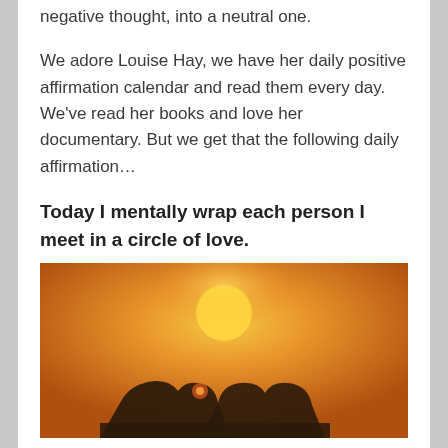negative thought, into a neutral one.
We adore Louise Hay, we have her daily positive affirmation calendar and read them every day. We've read her books and love her documentary. But we get that the following daily affirmation…
Today I mentally wrap each person I meet in a circle of love.
[Figure (photo): Warm sunset photo showing silhouetted hands forming a heart shape against an orange-yellow gradient sky background.]